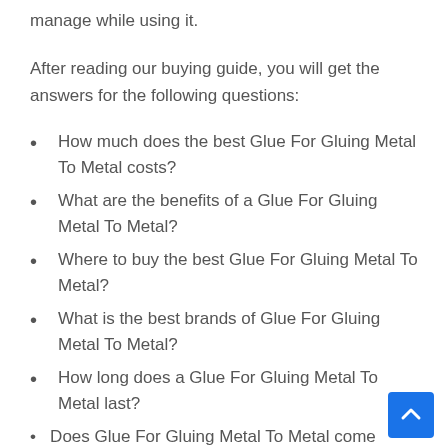manage while using it.
After reading our buying guide, you will get the answers for the following questions:
How much does the best Glue For Gluing Metal To Metal costs?
What are the benefits of a Glue For Gluing Metal To Metal?
Where to buy the best Glue For Gluing Metal To Metal?
What is the best brands of Glue For Gluing Metal To Metal?
How long does a Glue For Gluing Metal To Metal last?
Does Glue For Gluing Metal To Metal come with...